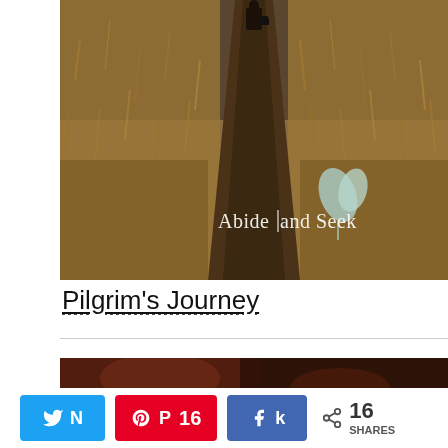[Figure (photo): A person walking away along a narrow path through dry golden grass fields, carrying a briefcase. Overlay text reads 'Abide and Seek' with a leaf logo in the bottom-right corner.]
Pilgrim's Journey
[Figure (photo): Partial view of a second image at the bottom of the page, showing a dark reddish-brown scene, partially cropped.]
N (Tweet button) | P 16 (Pinterest button) | k (Facebook button) | < 16 SHARES